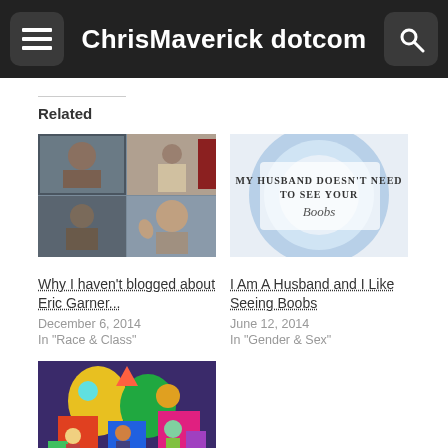ChrisMaverick dotcom
Related
[Figure (photo): Collage of photos of young Black men]
Why I haven't blogged about Eric Garner...
December 6, 2014
In "Race & Class"
[Figure (photo): Sign reading My Husband Doesn't Need To See Your Boobs]
I Am A Husband and I Like Seeing Boobs
June 12, 2014
In "Gender & Sex"
[Figure (photo): Colorful illustrated image with Princess Agile Girl and Mr. Strength Man characters]
Princess Agile Girl and Mr. Strength Man
July 19, 2017